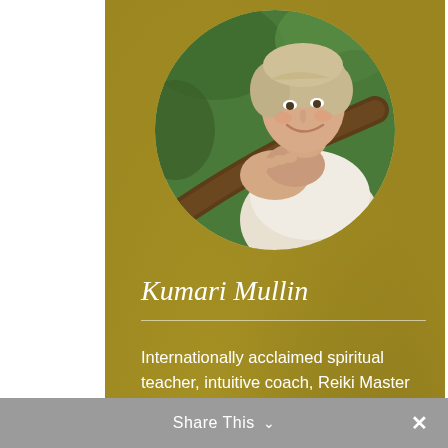[Figure (photo): Circular portrait photo of Kumari Mullin, a smiling middle-aged woman with short blonde hair wearing a white top, leaning on a tree branch against a green background]
Kumari Mullin
Internationally acclaimed spiritual teacher, intuitive coach, Reiki Master and best-selling author
READ MORE
Share This ∨  ✕